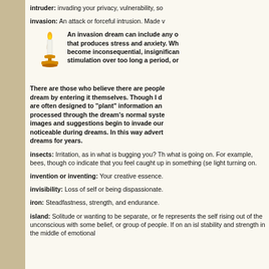intruder: invading your privacy, vulnerability, so
invasion: An attack or forceful intrusion. Made v
[Figure (illustration): A golden/orange candle on a candlestick holder]
An invasion dream can include any o that produces stress and anxiety. Wh become inconsequential, insignifican stimulation over too long a period, or
There are those who believe there are people dream by entering it themselves. Though I d are often designed to "plant" information an processed through the dream's normal syste images and suggestions begin to invade our noticeable during dreams. In this way advert dreams for years.
insects: Irritation, as in what is bugging you? Th what is going on. For example, bees, though co indicate that you feel caught up in something (s light turning on.
invention or inventing: Your creative essence.
invisibility: Loss of self or being dispassionate.
iron: Steadfastness, strength, and endurance.
island: Solitude or wanting to be separate, or fe represents the self rising out of the unconscious with some belief, or group of people. If on an isl stability and strength in the middle of emotional